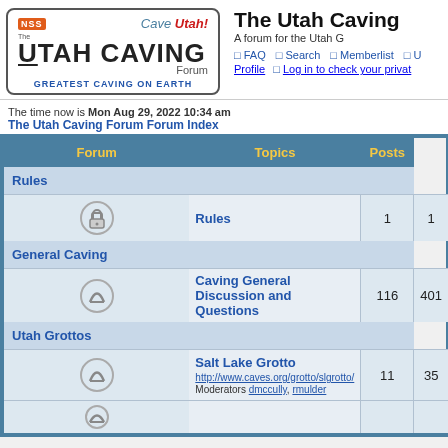[Figure (logo): Utah Caving Forum logo with NSS badge and Cave Utah! text]
The Utah Caving
A forum for the Utah G
FAQ  Search  Memberlist  U
Profile  Log in to check your privat
The time now is Mon Aug 29, 2022 10:34 am
The Utah Caving Forum Forum Index
| Forum | Topics | Posts |
| --- | --- | --- |
| Rules |  |  |
| Rules | 1 | 1 |
| General Caving |  |  |
| Caving General Discussion and Questions | 116 | 401 |
| Utah Grottos |  |  |
| Salt Lake Grotto
http://www.caves.org/grotto/slgrotto/
Moderators dmccully, rmulder | 11 | 35 |